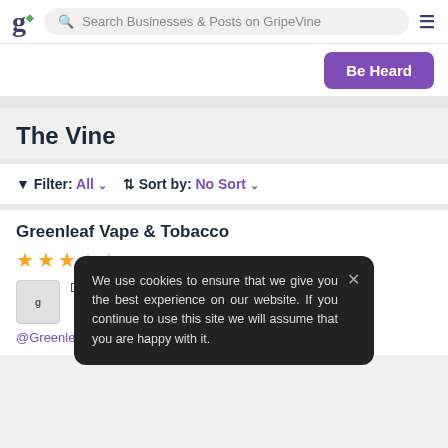GripeVine — Search Businesses & Posts on GripeVine
[Figure (screenshot): Purple 'Be Heard' button on white hero section]
The Vine
Filter: All   Sort by: No Sort
Greenleaf Vape & Tobacco
★★★☆☆ rating; user review snippet; @GreenleafVape & Tobacco
We use cookies to ensure that we give you the best experience on our website. If you continue to use this site we will assume that you are happy with it.